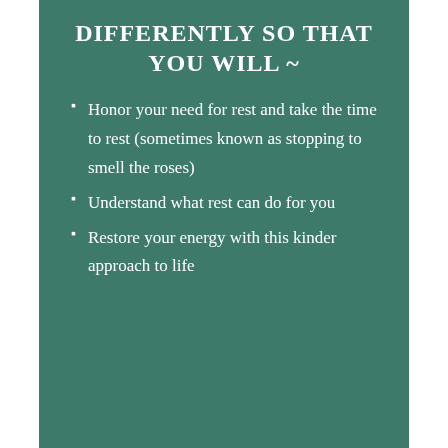DIFFERENTLY SO THAT YOU WILL ~
Honor your need for rest and take the time to rest (sometimes known as stopping to smell the roses)
Understand what rest can do for you
Restore your energy with this kinder approach to life